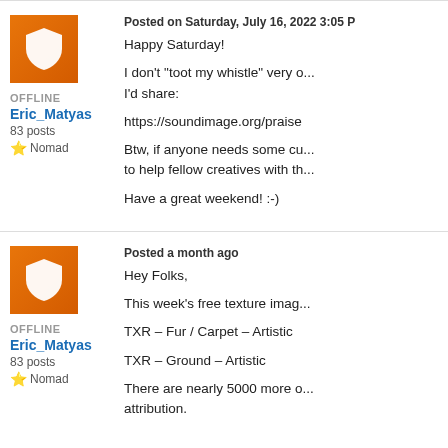[Figure (illustration): Orange shield avatar icon for user Eric_Matyas, first post]
OFFLINE
Eric_Matyas
83 posts
★ Nomad
Posted on Saturday, July 16, 2022 3:05 P
Happy Saturday!

I don't "toot my whistle" very o... I'd share:

https://soundimage.org/praise

Btw, if anyone needs some cu... to help fellow creatives with th...

Have a great weekend! :-)
[Figure (illustration): Orange shield avatar icon for user Eric_Matyas, second post]
OFFLINE
Eric_Matyas
83 posts
★ Nomad
Posted a month ago
Hey Folks,

This week's free texture imag...

TXR – Fur / Carpet – Artistic

TXR – Ground – Artistic

There are nearly 5000 more o... attribution.